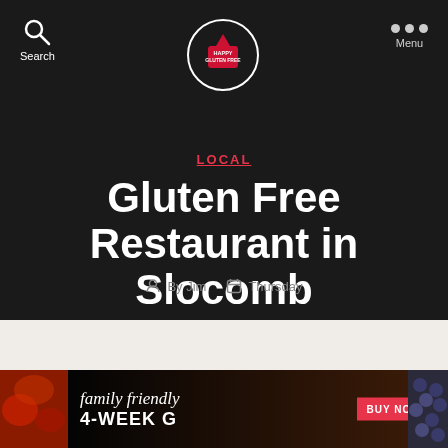Search | Happy Gluten Free | Menu
LOCAL
Gluten Free Restaurant in Slocomb
By Jim  Thursday
[Figure (infographic): Banner advertisement with SALE badge, '4-WEEK G', 'family friendly' text, BUY NOW button, food images on left and right edges]